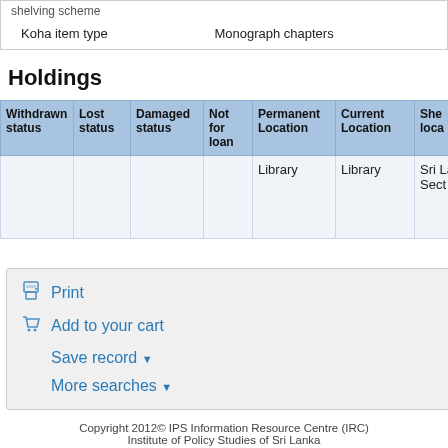|  |  |
| --- | --- |
| Koha item type | Monograph chapters |
Holdings
| Withdrawn status | Lost status | Damaged status | Not for loan | Permanent Location | Current Location | She loca |
| --- | --- | --- | --- | --- | --- | --- |
|  |  |  |  | Library | Library | Sri Lank Sect |
Print
Add to your cart
Save record ▼
More searches ▼
Copyright 2012© IPS Information Resource Centre (IRC)
Institute of Policy Studies of Sri Lanka